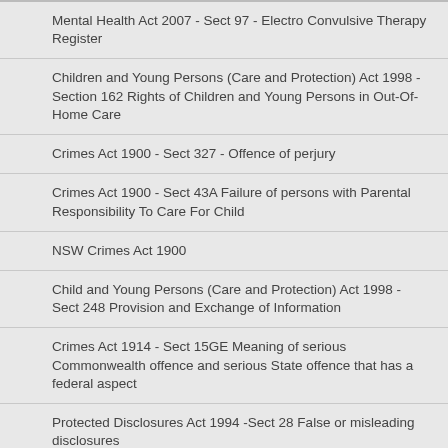Mental Health Act 2007 - Sect 97 - Electro Convulsive Therapy Register
Children and Young Persons (Care and Protection) Act 1998 - Section 162 Rights of Children and Young Persons in Out-Of-Home Care
Crimes Act 1900 - Sect 327 - Offence of perjury
Crimes Act 1900 - Sect 43A Failure of persons with Parental Responsibility To Care For Child
NSW Crimes Act 1900
Child and Young Persons (Care and Protection) Act 1998 - Sect 248 Provision and Exchange of Information
Crimes Act 1914 - Sect 15GE Meaning of serious Commonwealth offence and serious State offence that has a federal aspect
Protected Disclosures Act 1994 -Sect 28 False or misleading disclosures
Public Sector Employment & Management Act 2002 - Part 43 Meaning of “misconduct” (1988 Act, s 66)
Children & Young Persons (Care & Protection) Act 1998 -Sect 253